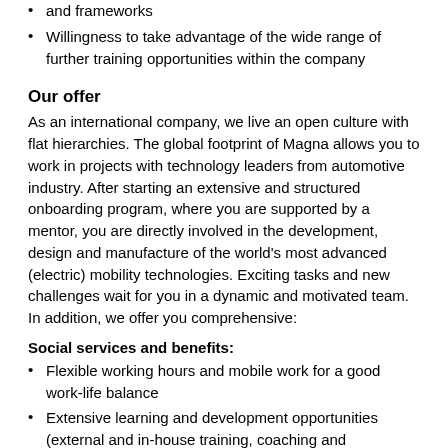and frameworks
Willingness to take advantage of the wide range of further training opportunities within the company
Our offer
As an international company, we live an open culture with flat hierarchies. The global footprint of Magna allows you to work in projects with technology leaders from automotive industry. After starting an extensive and structured onboarding program, where you are supported by a mentor, you are directly involved in the development, design and manufacture of the world's most advanced (electric) mobility technologies. Exciting tasks and new challenges wait for you in a dynamic and motivated team. In addition, we offer you comprehensive:
Social services and benefits:
Flexible working hours and mobile work for a good work-life balance
Extensive learning and development opportunities (external and in-house training, coaching and workshops)
Meal subsidy for canteen and snack machines